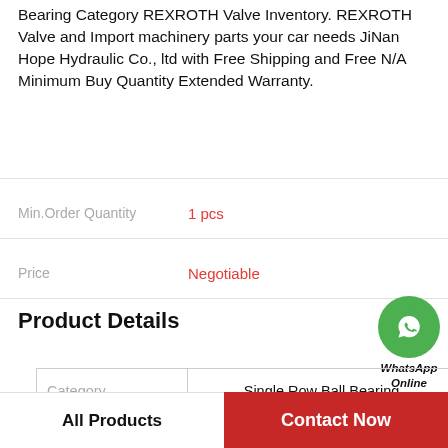Bearing Category REXROTH Valve Inventory. REXROTH Valve and Import machinery parts your car needs JiNan Hope Hydraulic Co., ltd with Free Shipping and Free N/A Minimum Buy Quantity Extended Warranty.
Min.Order Quantity  1 pcs
Price  Negotiable
Product Details
| Category |  |
| --- | --- |
| Category | Single Row Ball Bearing |
| Inventory | 0.0 |
| Minimum Buy Quantity | N/A |
All Products
Contact Now